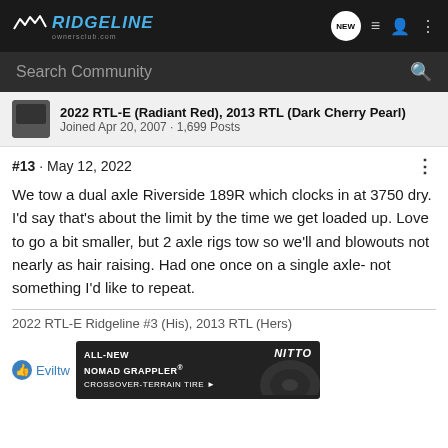Ridgeline OwnersClub.com
Search Community
2022 RTL-E (Radiant Red), 2013 RTL (Dark Cherry Pearl)
Joined Apr 20, 2007 · 1,699 Posts
#13 · May 12, 2022
We tow a dual axle Riverside 189R which clocks in at 3750 dry. I'd say that's about the limit by the time we get loaded up. Love to go a bit smaller, but 2 axle rigs tow so we'll and blowouts not nearly as hair raising. Had one once on a single axle- not something I'd like to repeat.
2022 RTL-E Ridgeline #3 (His), 2013 RTL (Hers)
[Figure (other): Advertisement banner for Nitto ALL-NEW NOMAD GRAPPLER CROSSOVER-TERRAIN TIRE with tire image]